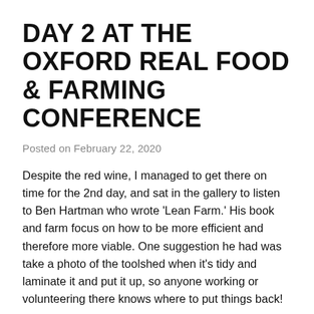DAY 2 AT THE OXFORD REAL FOOD & FARMING CONFERENCE
Posted on February 22, 2020
Despite the red wine, I managed to get there on time for the 2nd day, and sat in the gallery to listen to Ben Hartman who wrote 'Lean Farm.' His book and farm focus on how to be more efficient and therefore more viable. One suggestion he had was take a photo of the toolshed when it's tidy and laminate it and put it up, so anyone working or volunteering there knows where to put things back!
Then I went to '10 years of agri-ecology' which is a term for social justice as well as organic farming principles. It covered new research from Oxford University showing that methane does not persist in